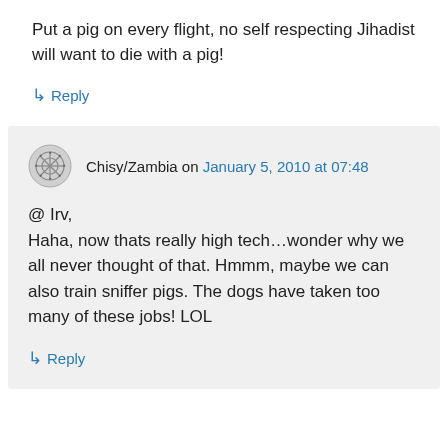Put a pig on every flight, no self respecting Jihadist will want to die with a pig!
↳ Reply
Chisy/Zambia on January 5, 2010 at 07:48
@ Irv,
Haha, now thats really high tech…wonder why we all never thought of that. Hmmm, maybe we can also train sniffer pigs. The dogs have taken too many of these jobs! LOL
↳ Reply